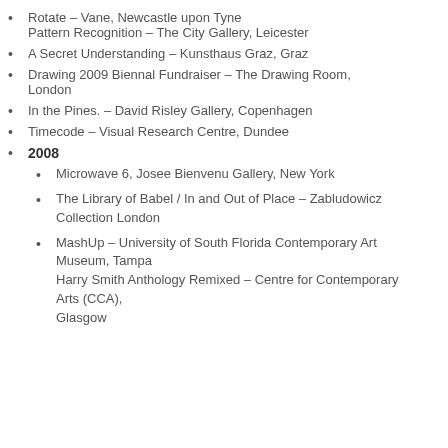Rotate – Vane, Newcastle upon Tyne
Pattern Recognition – The City Gallery, Leicester
A Secret Understanding – Kunsthaus Graz, Graz
Drawing 2009 Biennal Fundraiser – The Drawing Room, London
In the Pines. – David Risley Gallery, Copenhagen
Timecode – Visual Research Centre, Dundee
2008
Microwave 6, Josee Bienvenu Gallery, New York
The Library of Babel / In and Out of Place – Zabludowicz Collection London
MashUp – University of South Florida Contemporary Art Museum, Tampa
Harry Smith Anthology Remixed – Centre for Contemporary Arts (CCA),
Glasgow